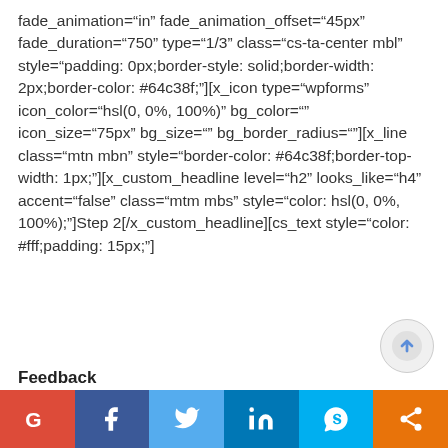fade_animation="in" fade_animation_offset="45px" fade_duration="750" type="1/3" class="cs-ta-center mbl" style="padding: 0px;border-style: solid;border-width: 2px;border-color: #64c38f;"][x_icon type="wpforms" icon_color="hsl(0, 0%, 100%)" bg_color="" icon_size="75px" bg_size="" bg_border_radius=""][x_line class="mtn mbn" style="border-color: #64c38f;border-top-width: 1px;"][x_custom_headline level="h2" looks_like="h4" accent="false" class="mtm mbs" style="color: hsl(0, 0%, 100%);"]Step 2[/x_custom_headline][cs_text style="color: #fff;padding: 15px;"]
Feedback